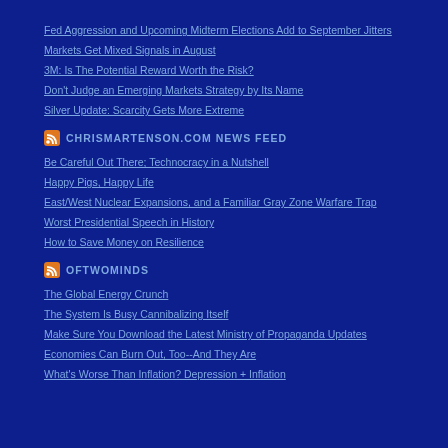Fed Aggression and Upcoming Midterm Elections Add to September Jitters
Markets Get Mixed Signals in August
3M: Is The Potential Reward Worth the Risk?
Don't Judge an Emerging Markets Strategy by Its Name
Silver Update: Scarcity Gets More Extreme
CHRISMARTENSON.COM NEWS FEED
Be Careful Out There; Technocracy in a Nutshell
Happy Pigs, Happy Life
East/West Nuclear Expansions, and a Familiar Gray Zone Warfare Trap
Worst Presidential Speech in History
How to Save Money on Resilience
OFTWOMINDS
The Global Energy Crunch
The System Is Busy Cannibalizing Itself
Make Sure You Download the Latest Ministry of Propaganda Updates
Economies Can Burn Out, Too--And They Are
What's Worse Than Inflation? Depression + Inflation